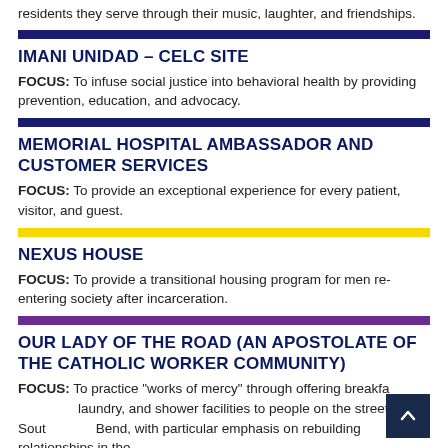residents they serve through their music, laughter, and friendships.
IMANI UNIDAD – CELC SITE
FOCUS: To infuse social justice into behavioral health by providing prevention, education, and advocacy.
MEMORIAL HOSPITAL AMBASSADOR AND CUSTOMER SERVICES
FOCUS: To provide an exceptional experience for every patient, visitor, and guest.
NEXUS HOUSE
FOCUS: To provide a transitional housing program for men re-entering society after incarceration.
OUR LADY OF THE ROAD (AN APOSTOLATE OF THE CATHOLIC WORKER COMMUNITY)
FOCUS: To practice "works of mercy" through offering breakfast, laundry, and shower facilities to people on the streets of South Bend, with particular emphasis on rebuilding relationships in the